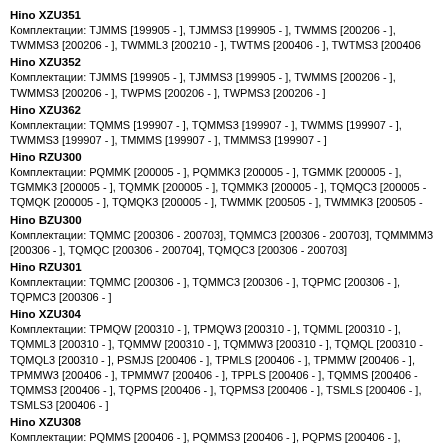Hino XZU351
Комплектации: TJMMS [199905 - ], TJMMS3 [199905 - ], TWMMS [200206 - ], TWMMS3 [200206 - ], TWMML3 [200210 - ], TWTMS [200406 - ], TWTMS3 [200406
Hino XZU352
Комплектации: TJMMS [199905 - ], TJMMS3 [199905 - ], TWMMS [200206 - ], TWMMS3 [200206 - ], TWPMS [200206 - ], TWPMS3 [200206 - ]
Hino XZU362
Комплектации: TQMMS [199907 - ], TQMMS3 [199907 - ], TWMMS [199907 - ], TWMMS3 [199907 - ], TMMMS [199907 - ], TMMMS3 [199907 - ]
Hino RZU300
Комплектации: PQMMK [200005 - ], PQMMK3 [200005 - ], TGMMK [200005 - ], TGMMK3 [200005 - ], TQMMK [200005 - ], TQMMK3 [200005 - ], TQMQC3 [200005 - ], TQMQK [200005 - ], TQMQK3 [200005 - ], TWMMK [200505 - ], TWMMK3 [200505 -
Hino BZU300
Комплектации: TQMMC [200306 - 200703], TQMMC3 [200306 - 200703], TQMMMM3 [200306 - ], TQMQC [200306 - 200704], TQMQC3 [200306 - 200703]
Hino RZU301
Комплектации: TQMMC [200306 - ], TQMMC3 [200306 - ], TQPMC [200306 - ], TQPMC3 [200306 - ]
Hino XZU304
Комплектации: TPMQW [200310 - ], TPMQW3 [200310 - ], TQMML [200310 - ], TQMML3 [200310 - ], TQMMW [200310 - ], TQMMW3 [200310 - ], TQMQL [200310 - ], TQMQL3 [200310 - ], PSMJS [200406 - ], TPMLS [200406 - ], TPMMW [200406 - ], TPMMW3 [200406 - ], TPMMW7 [200406 - ], TPPLS [200406 - ], TQMMS [200406 - ], TQMMS3 [200406 - ], TQPMS [200406 - ], TQPMS3 [200406 - ], TSMLS [200406 - ], TSMLS3 [200406 - ]
Hino XZU308
Комплектации: PQMMS [200406 - ], PQMMS3 [200406 - ], PQPMS [200406 - ], PQPMS3 [200406 - ], TGMMS [200406 - ], TGMMS3 [200406 - ], TGPMS [200406 - ], TGPMS3 [200406 - ], TPMMS [200406 - ], TPMMS3 [200406 - ], TQMMS [200406 - ], TQMMS3 [200406 - ], TQPMS [200406 - ], TQPMS3 [200406 - ], REMMS [200406 - ], REPMS [200406 - ], RRMMS [200406 - ]
Hino XZU314